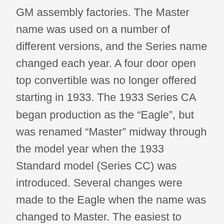GM assembly factories. The Master name was used on a number of different versions, and the Series name changed each year. A four door open top convertible was no longer offered starting in 1933. The 1933 Series CA began production as the “Eagle”, but was renamed “Master” midway through the model year when the 1933 Standard model (Series CC) was introduced. Several changes were made to the Eagle when the name was changed to Master. The easiest to distinguishing feature is the post between the front door wing windows and the roll down windows: on the Eagle the chrome divider between these two windows goes down as the window goes down, whereas on the Master this divider remains fixed and does not go down with the window. In 1934 the Series DA Master offered an increased wheelbase of 112 in (2,844.8 mm). This increased the difference with the cheaper Standard wheelbase to 5 in (127.0 mm). Powered by an upgraded version of the 206 cu in (3,380 cc) “Stovebolt” six-cylinder engine, now producing 80 hp. The independent front suspension was